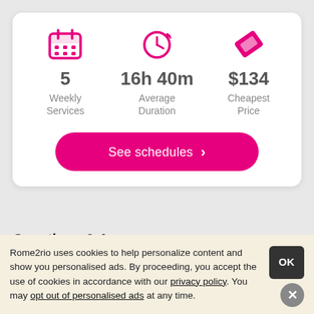[Figure (infographic): Card showing three travel stats: 5 Weekly Services (calendar icon), 16h 40m Average Duration (clock icon), $134 Cheapest Price (ticket icon), with a pink 'See schedules' button]
Questions & Answers
Rome2rio uses cookies to help personalize content and show you personalised ads. By proceeding, you accept the use of cookies in accordance with our privacy policy. You may opt out of personalised ads at any time.